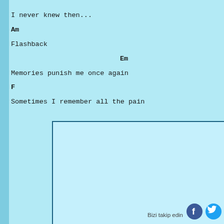I never knew then...
Am
Flashback
Em
Memories punish me once again
F
Sometimes I remember all the pain
[Figure (other): Empty bordered box / content area below the lyrics]
Bizi takip edin